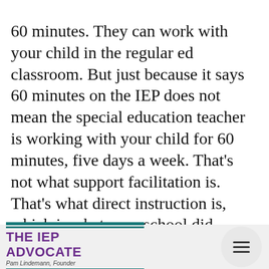60 minutes. They can work with your child in the regular ed classroom. But just because it says 60 minutes on the IEP does not mean the special education teacher is working with your child for 60 minutes, five days a week. That's not what support facilitation is. That's what direct instruction is, which is what your school did previously. But support facilitation means that a special education
THE IEP ADVOCATE Pam Lindemann, Founder